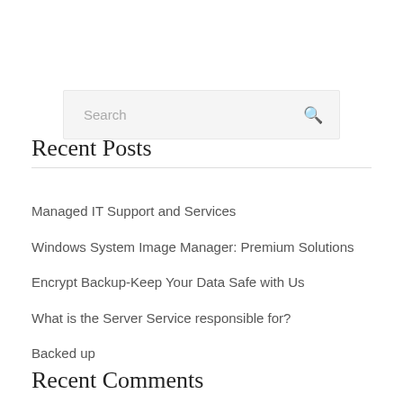[Figure (other): Search input box with placeholder text 'Search' and a magnifying glass icon on the right]
Recent Posts
Managed IT Support and Services
Windows System Image Manager: Premium Solutions
Encrypt Backup-Keep Your Data Safe with Us
What is the Server Service responsible for?
Backed up
Recent Comments